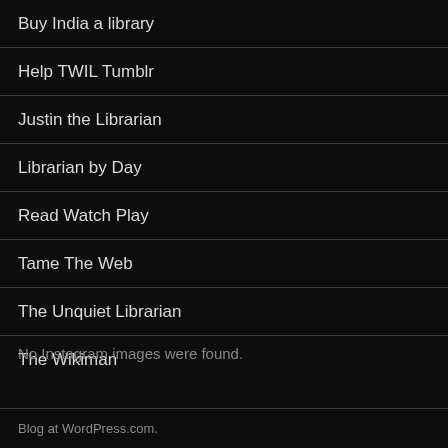Buy India a library
Help TWIL Tumblr
Justin the Librarian
Librarian by Day
Read Watch Play
Tame The Web
The Unquiet Librarian
The Wikiman
No Instagram images were found.
Blog at WordPress.com.